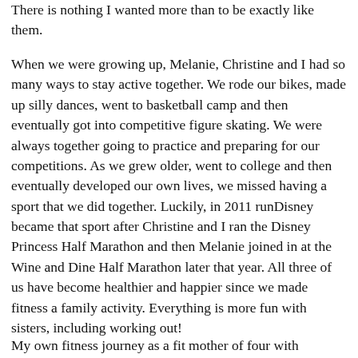There is nothing I wanted more than to be exactly like them.
When we were growing up, Melanie, Christine and I had so many ways to stay active together. We rode our bikes, made up silly dances, went to basketball camp and then eventually got into competitive figure skating. We were always together going to practice and preparing for our competitions. As we grew older, went to college and then eventually developed our own lives, we missed having a sport that we did together. Luckily, in 2011 runDisney became that sport after Christine and I ran the Disney Princess Half Marathon and then Melanie joined in at the Wine and Dine Half Marathon later that year. All three of us have become healthier and happier since we made fitness a family activity. Everything is more fun with sisters, including working out!
My own fitness journey as a fit mother of four with